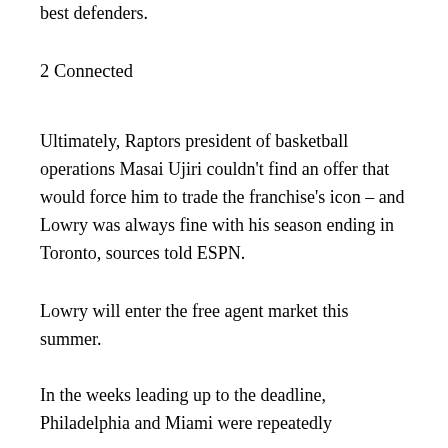best defenders.
2 Connected
Ultimately, Raptors president of basketball operations Masai Ujiri couldn't find an offer that would force him to trade the franchise's icon – and Lowry was always fine with his season ending in Toronto, sources told ESPN.
Lowry will enter the free agent market this summer.
In the weeks leading up to the deadline, Philadelphia and Miami were repeatedly